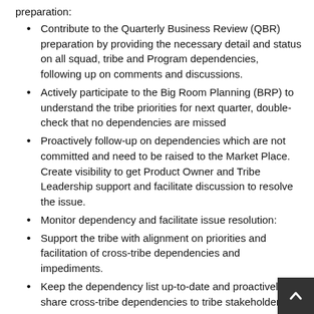preparation:
Contribute to the Quarterly Business Review (QBR) preparation by providing the necessary detail and status on all squad, tribe and Program dependencies, following up on comments and discussions.
Actively participate to the Big Room Planning (BRP) to understand the tribe priorities for next quarter, double-check that no dependencies are missed
Proactively follow-up on dependencies which are not committed and need to be raised to the Market Place. Create visibility to get Product Owner and Tribe Leadership support and facilitate discussion to resolve the issue.
Monitor dependency and facilitate issue resolution:
Support the tribe with alignment on priorities and facilitation of cross-tribe dependencies and impediments.
Keep the dependency list up-to-date and proactively share cross-tribe dependencies to tribe stakeholders.
For programs, collaborate with Program Managers and play the role of entry door to the tribe for orienting demand to the relevant PO.